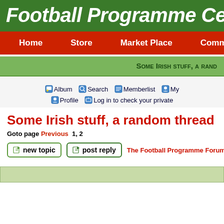Football Programme Cent
Home  Store  Market Place  Community
Some Irish stuff, a rand
Album  Search  Memberlist  My  Profile  Log in to check your private
Some Irish stuff, a random thread
Goto page Previous 1, 2
new topic  post reply  The Football Programme Forum Index -> Ev